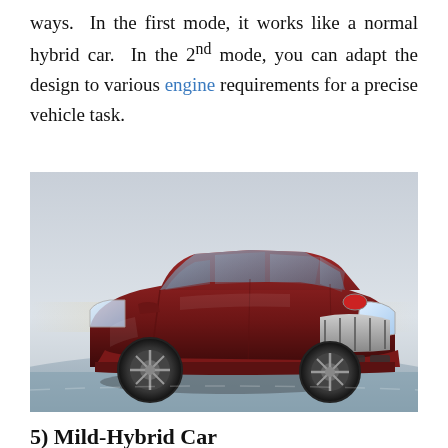ways. In the first mode, it works like a normal hybrid car. In the 2nd mode, you can adapt the design to various engine requirements for a precise vehicle task.
[Figure (photo): A red Saturn Vue hybrid SUV photographed from the front-left angle, driving on a road with a light grey sky background.]
5) Mild-Hybrid Car